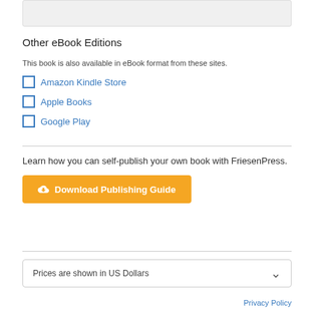[Figure (other): Gray placeholder box at the top of the page]
Other eBook Editions
This book is also available in eBook format from these sites.
Amazon Kindle Store
Apple Books
Google Play
Learn how you can self-publish your own book with FriesenPress.
[Figure (other): Orange button labeled 'Download Publishing Guide' with a cloud/download icon]
Prices are shown in US Dollars
Privacy Policy